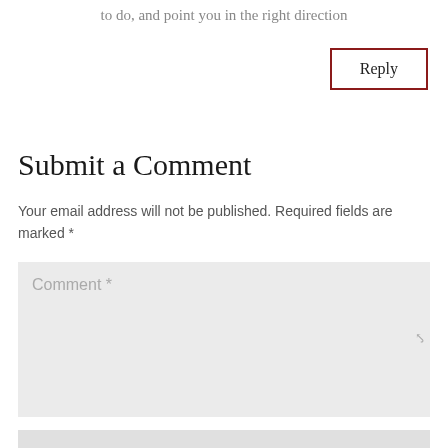to do, and point you in the right direction
Reply
Submit a Comment
Your email address will not be published. Required fields are marked *
Comment *